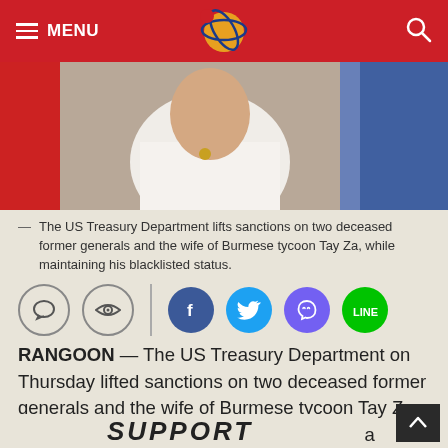MENU [navigation bar with logo and search]
[Figure (photo): Person in white shirt, photo partially visible, set against red and blue background]
The US Treasury Department lifts sanctions on two deceased former generals and the wife of Burmese tycoon Tay Za, while maintaining his blacklisted status.
[Figure (infographic): Social sharing icons row: comment bubble, eye/watch icon, divider, Facebook, Twitter, Viber, Line]
RANGOON — The US Treasury Department on Thursday lifted sanctions on two deceased former generals and the wife of Burmese tycoon Tay Za, while maintaining his blacklisted status as a Specially Designated National (SDN).
SUPPORT